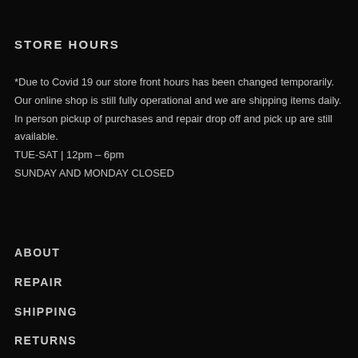STORE HOURS
*Due to Covid 19 our store front hours has been changed temporarily. Our online shop is still fully operational and we are shipping items daily. In person pickup of purchases and repair drop off and pick up are still available.
TUE-SAT | 12pm – 6pm
SUNDAY AND MONDAY CLOSED
ABOUT
REPAIR
SHIPPING
RETURNS